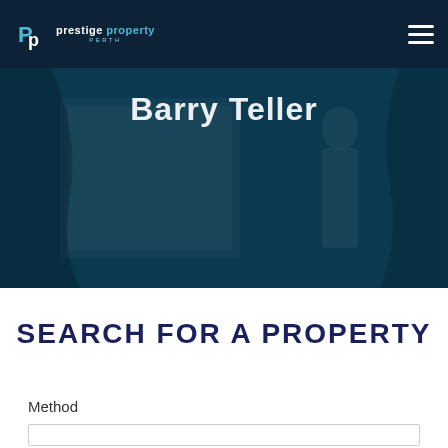prestige property PERTH
[Figure (screenshot): Hero banner with teal/dark blue background showing partial text 'Barry Teller']
SEARCH FOR A PROPERTY
Method